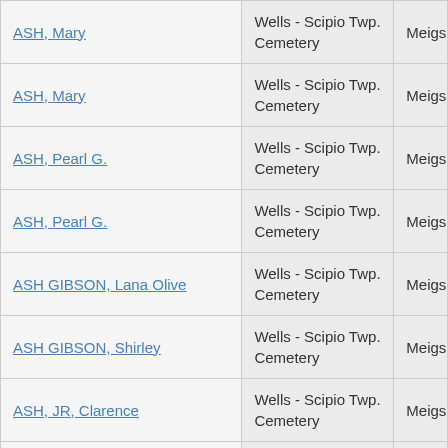| ASH, Mary | Wells - Scipio Twp. Cemetery | Meigs |
| ASH, Mary | Wells - Scipio Twp. Cemetery | Meigs |
| ASH, Pearl G. | Wells - Scipio Twp. Cemetery | Meigs |
| ASH, Pearl G. | Wells - Scipio Twp. Cemetery | Meigs |
| ASH GIBSON, Lana Olive | Wells - Scipio Twp. Cemetery | Meigs |
| ASH GIBSON, Shirley | Wells - Scipio Twp. Cemetery | Meigs |
| ASH, JR, Clarence | Wells - Scipio Twp. Cemetery | Meigs |
| ASHWORTH STANLEY, Gladys M. | Wells - Scipio Twp. Cemetery | Meigs |
| ATKINS, Bertha | Wells - Scipio Twp. Cemetery | Meigs |